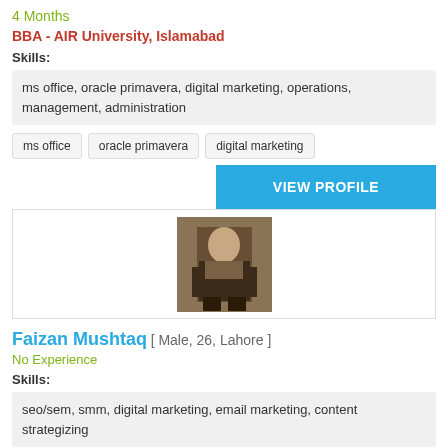4 Months
BBA - AIR University, Islamabad
Skills:
ms office, oracle primavera, digital marketing, operations, management, administration
ms office
oracle primavera
digital marketing
VIEW PROFILE
[Figure (photo): Profile photo of a man standing outdoors]
Faizan Mushtaq [ Male, 26, Lahore ]
No Experience
Skills:
seo/sem, smm, digital marketing, email marketing, content strategizing
social media marketing
paid campaigns ppc
seo expert